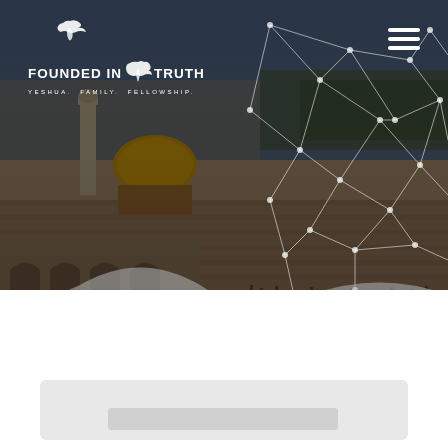[Figure (photo): Hero banner image of Jerusalem showing the Dome of the Rock and Western Wall plaza with a dark overlay. A network/constellation graphic overlay of white lines and dots is superimposed on the right side of the image. The 'Founded in Truth' logo with text 'YESHUA. FAMILY. FELLOWSHIP.' appears in the upper left, and a hamburger menu icon appears in the upper right. The bottom of the hero section has a white wave/diagonal shape transitioning to a white background. Below the hero is a white section with a light gray card element.]